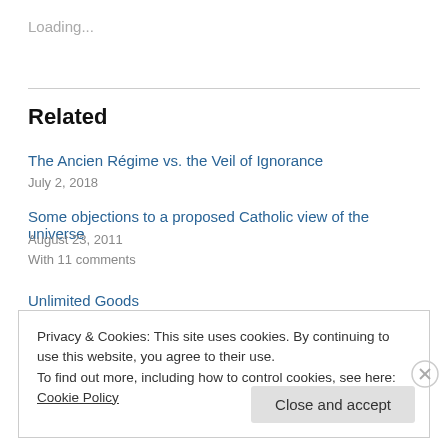Loading...
Related
The Ancien Régime vs. the Veil of Ignorance
July 2, 2018
Some objections to a proposed Catholic view of the universe
August 23, 2011
With 11 comments
Unlimited Goods
Privacy & Cookies: This site uses cookies. By continuing to use this website, you agree to their use.
To find out more, including how to control cookies, see here: Cookie Policy
Close and accept